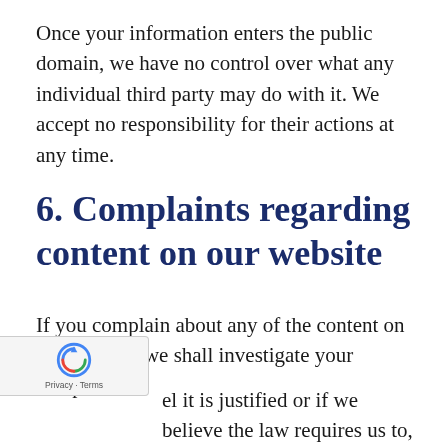Once your information enters the public domain, we have no control over what any individual third party may do with it. We accept no responsibility for their actions at any time.
6. Complaints regarding content on our website
If you complain about any of the content on our website, we shall investigate your complaint.
el it is justified or if we believe the law requires us to, we shall remove the content while we investigate.